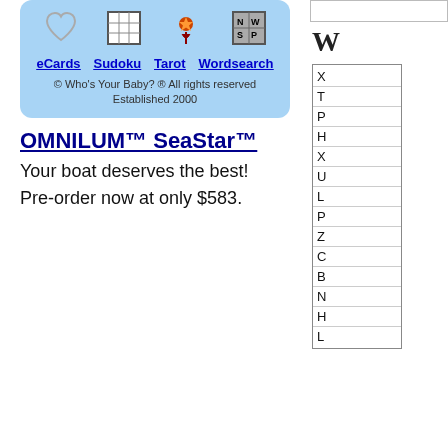[Figure (screenshot): Blue rounded widget box with icons for eCards (heart), Sudoku (grid), Tarot (star/spider), Wordsearch (NW/SP grid), with blue underlined links and copyright notice]
eCards   Sudoku   Tarot   Wordsearch
© Who's Your Baby? ® All rights reserved
Established 2000
OMNILUM™ SeaStar™
Your boat deserves the best!
Pre-order now at only $583.
[Figure (screenshot): Partial right column showing a large 'W' heading and a bordered list with items starting with X, T, P, H, X, U, L, P, Z, C, B, N, H, L]
W
X
T
P
H
X
U
L
P
Z
C
B
N
H
L